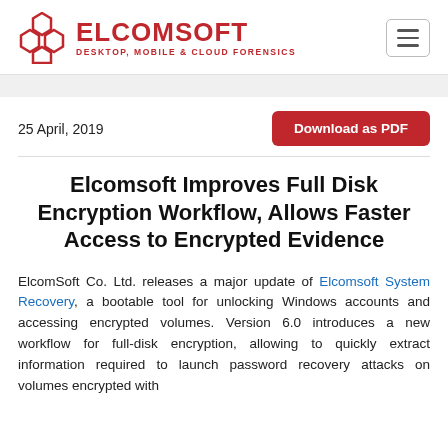ELCOMSOFT — DESKTOP, MOBILE & CLOUD FORENSICS
25 April, 2019
Download as PDF
Elcomsoft Improves Full Disk Encryption Workflow, Allows Faster Access to Encrypted Evidence
ElcomSoft Co. Ltd. releases a major update of Elcomsoft System Recovery, a bootable tool for unlocking Windows accounts and accessing encrypted volumes. Version 6.0 introduces a new workflow for full-disk encryption, allowing to quickly extract information required to launch password recovery attacks on volumes encrypted with BitLocker, PGP and TrueCrypt/VeraCrypt. Compatibility with...